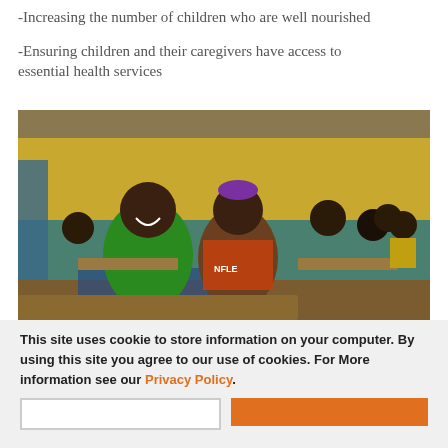-Increasing the number of children who are well nourished
-Ensuring children and their caregivers have access to essential health services
[Figure (photo): Children sitting at wooden school desks in a classroom with yellow and green painted walls, laughing and smiling. A boy in a green shirt is prominent in the foreground.]
This site uses cookie to store information on your computer. By using this site you agree to our use of cookies. For More information see our Privacy Policy.